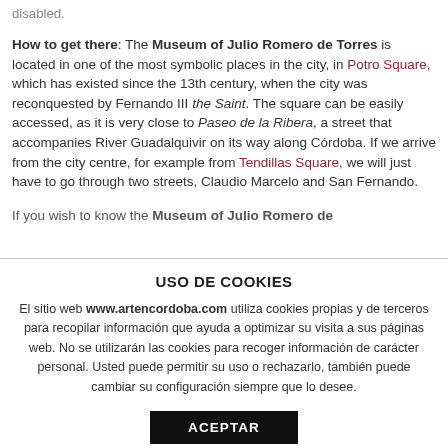disabled.
How to get there: The Museum of Julio Romero de Torres is located in one of the most symbolic places in the city, in Potro Square, which has existed since the 13th century, when the city was reconquested by Fernando III the Saint. The square can be easily accessed, as it is very close to Paseo de la Ribera, a street that accompanies River Guadalquivir on its way along Córdoba. If we arrive from the city centre, for example from Tendillas Square, we will just have to go through two streets, Claudio Marcelo and San Fernando.
If you wish to know the Museum of Julio Romero de
USO DE COOKIES
El sitio web www.artencordoba.com utiliza cookies propias y de terceros para recopilar información que ayuda a optimizar su visita a sus páginas web. No se utilizarán las cookies para recoger información de carácter personal. Usted puede permitir su uso o rechazarlo, también puede cambiar su configuración siempre que lo desee.
ACEPTAR